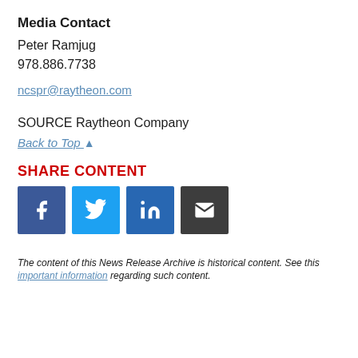Media Contact
Peter Ramjug
978.886.7738
ncspr@raytheon.com
SOURCE Raytheon Company
Back to Top ▲
SHARE CONTENT
[Figure (infographic): Social share buttons: Facebook, Twitter, LinkedIn, Email]
The content of this News Release Archive is historical content. See this important information regarding such content.